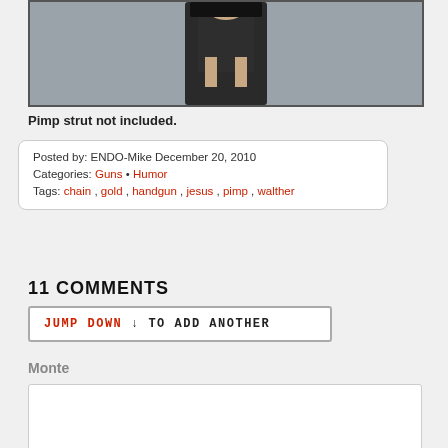[Figure (photo): Partial photo of a figure/toy wearing dark clothing, gray background, showing lower torso and hands]
Pimp strut not included.
Posted by: ENDO-Mike December 20, 2010
Categories: Guns • Humor
Tags: chain , gold , handgun , jesus , pimp , walther
11 COMMENTS
JUMP DOWN ↓ TO ADD ANOTHER
Monte